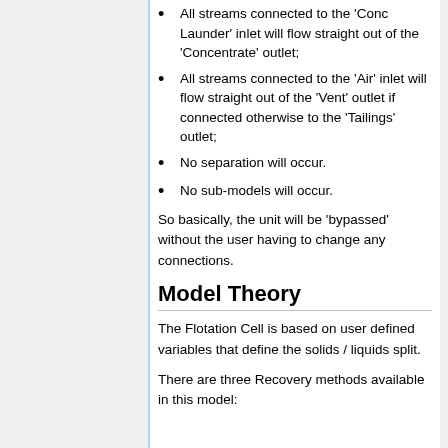All streams connected to the 'Conc Launder' inlet will flow straight out of the 'Concentrate' outlet;
All streams connected to the 'Air' inlet will flow straight out of the 'Vent' outlet if connected otherwise to the 'Tailings' outlet;
No separation will occur.
No sub-models will occur.
So basically, the unit will be 'bypassed' without the user having to change any connections.
Model Theory
The Flotation Cell is based on user defined variables that define the solids / liquids split.
There are three Recovery methods available in this model: